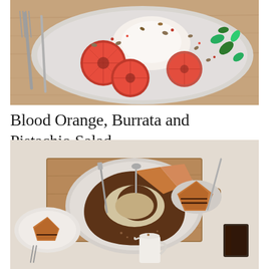[Figure (photo): Overhead shot of a plate with blood orange slices, burrata cheese, pistachios and fresh basil leaves on a wooden board with fork and knife]
Blood Orange, Burrata and Pistachio Salad
[Figure (photo): Overhead shot of a bundt cake sliced on a plate on a wooden board, with additional cake slices on smaller plates, a small cream pitcher, and a glass of dark liquid]